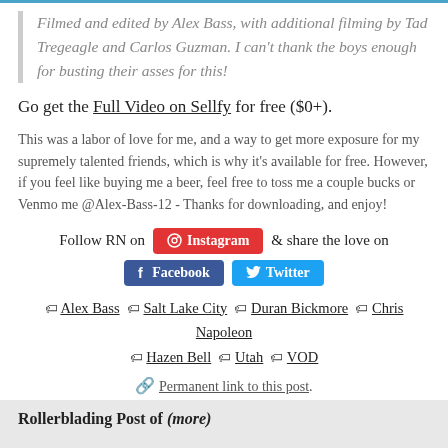Filmed and edited by Alex Bass, with additional filming by Tad Tregeagle and Carlos Guzman. I can't thank the boys enough for busting their asses for this!
Go get the Full Video on Sellfy for free ($0+).
This was a labor of love for me, and a way to get more exposure for my supremely talented friends, which is why it's available for free. However, if you feel like buying me a beer, feel free to toss me a couple bucks or Venmo me @Alex-Bass-12 - Thanks for downloading, and enjoy!
Follow RN on Instagram & share the love on Facebook Twitter
Alex Bass  Salt Lake City  Duran Bickmore  Chris Napoleon  Hazen Bell  Utah  VOD
Permanent link to this post.
Rollerblading Post of (more)